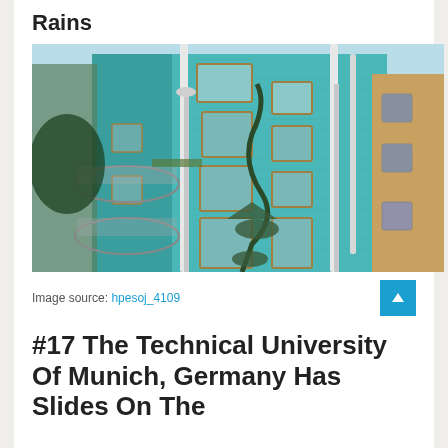Rains
[Figure (photo): Photo of a teal/turquoise building facade with artistic water pipe sculptures and balconies, viewed from below.]
Image source: hpesoj_4109
#17 The Technical University Of Munich, Germany Has Slides On The